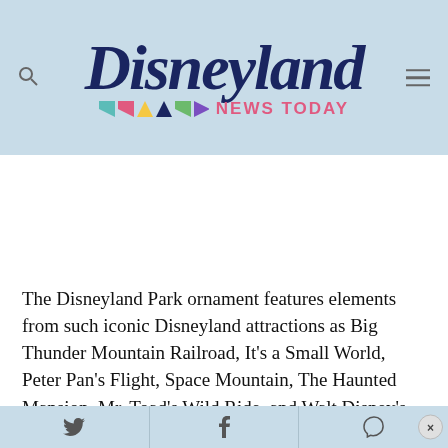Disneyland NEWS TODAY
The Disneyland Park ornament features elements from such iconic Disneyland attractions as Big Thunder Mountain Railroad, It's a Small World, Peter Pan's Flight, Space Mountain, The Haunted Mansion, Mr. Toad's Wild Ride, and Walt Disney's Enchanted Tiki Room, all forming the outline
Twitter  Facebook  Messenger  ×